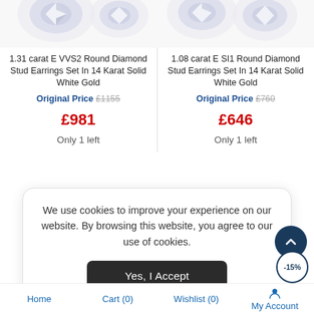[Figure (photo): Diamond stud earrings product image, two pairs partially visible at top of page]
1.31 carat E VVS2 Round Diamond Stud Earrings Set In 14 Karat Solid White Gold
Original Price £1155
£981
Only 1 left
1.08 carat E SI1 Round Diamond Stud Earrings Set In 14 Karat Solid White Gold
Original Price £760
£646
Only 1 left
We use cookies to improve your experience on our website. By browsing this website, you agree to our use of cookies.
Yes, I Accept
Home  Cart (0)  Wishlist (0)  My Account